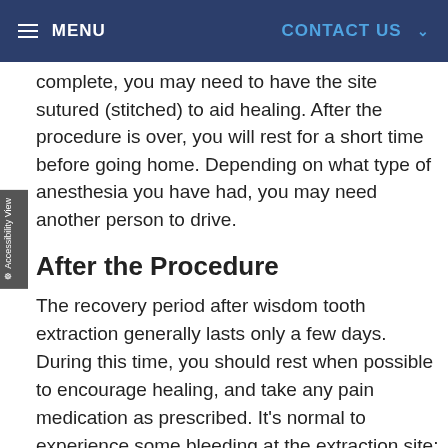MENU    CONTACT US
complete, you may need to have the site sutured (stitched) to aid healing. After the procedure is over, you will rest for a short time before going home. Depending on what type of anesthesia you have had, you may need another person to drive.
After the Procedure
The recovery period after wisdom tooth extraction generally lasts only a few days. During this time, you should rest when possible to encourage healing, and take any pain medication as prescribed. It's normal to experience some bleeding at the extraction site; this can be controlled by gently biting on gauze pads, changing them as needed, and resting with the head elevated on pillows rather than flat.
Holding an ice pack on the outside of your cheek for a few minutes at a time (for example, 5 minutes on / 5 minutes off) may help reduce swelling on the first day after the procedure. Starting on day 2, the warm moist